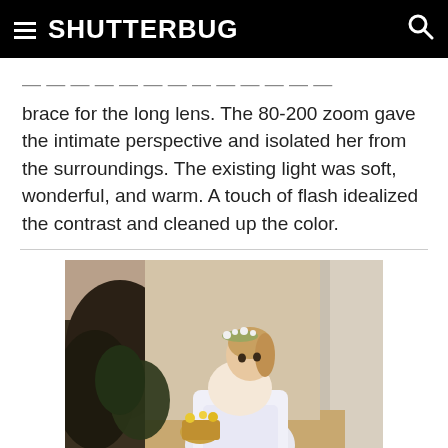SHUTTERBUG
brace for the long lens. The 80-200 zoom gave the intimate perspective and isolated her from the surroundings. The existing light was soft, wonderful, and warm. A touch of flash idealized the contrast and cleaned up the color.
[Figure (photo): A young flower girl in a white dress with a floral crown, holding a basket of flowers, looking back over her shoulder inside a church or wedding venue.]